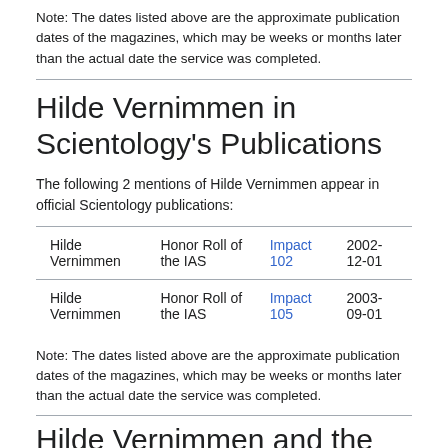Note: The dates listed above are the approximate publication dates of the magazines, which may be weeks or months later than the actual date the service was completed.
Hilde Vernimmen in Scientology's Publications
The following 2 mentions of Hilde Vernimmen appear in official Scientology publications:
|  | Honor Roll of the IAS | Impact 102 | 2002-12-01 |
| --- | --- | --- | --- |
| Hilde Vernimmen | Honor Roll of the IAS | Impact 102 | 2002-12-01 |
| Hilde Vernimmen | Honor Roll of the IAS | Impact 105 | 2003-09-01 |
Note: The dates listed above are the approximate publication dates of the magazines, which may be weeks or months later than the actual date the service was completed.
Hilde Vernimmen and the Clear